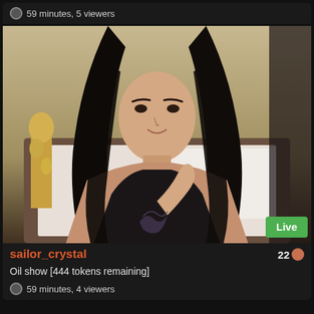59 minutes, 5 viewers
[Figure (photo): Live webcam stream of a young woman with long black hair wearing a black top, sitting on a bed in a bedroom. A 'Live' badge is visible in the bottom right corner of the video frame.]
sailor_crystal   22
Oil show [444 tokens remaining]
59 minutes, 4 viewers